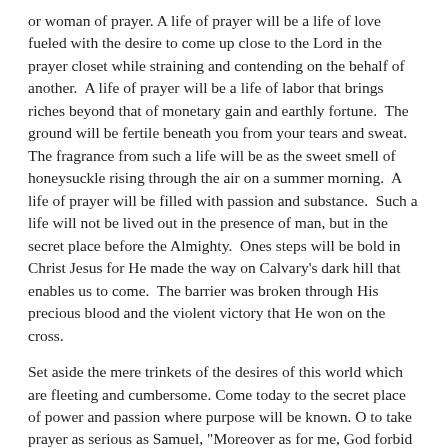or woman of prayer. A life of prayer will be a life of love fueled with the desire to come up close to the Lord in the prayer closet while straining and contending on the behalf of another. A life of prayer will be a life of labor that brings riches beyond that of monetary gain and earthly fortune. The ground will be fertile beneath you from your tears and sweat. The fragrance from such a life will be as the sweet smell of honeysuckle rising through the air on a summer morning. A life of prayer will be filled with passion and substance. Such a life will not be lived out in the presence of man, but in the secret place before the Almighty. Ones steps will be bold in Christ Jesus for He made the way on Calvary's dark hill that enables us to come. The barrier was broken through His precious blood and the violent victory that He won on the cross.
Set aside the mere trinkets of the desires of this world which are fleeting and cumbersome. Come today to the secret place of power and passion where purpose will be known. O to take prayer as serious as Samuel, "Moreover as for me, God forbid that I should sin against the Lord in ceasing to pray for you" (I Samuel 12:23a.) Be a man of prayer! Be a woman of prayer! Fix and set your affection on things above, not on things below, but into the prayer...